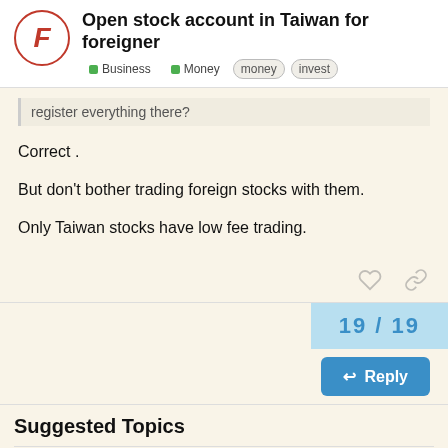Open stock account in Taiwan for foreigner | Business | Money | money | invest
register everything there?
Correct .
But don't bother trading foreign stocks with them.
Only Taiwan stocks have low fee trading.
19 / 19
Reply
Suggested Topics
Shipping small packages - Suggestions?
Money | Sep 2020 | 8